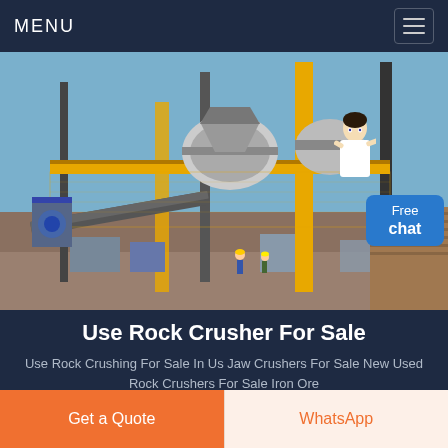MENU
[Figure (photo): Industrial rock crushing facility with large yellow structural columns, elevated conveyor systems, crushers, and workers on site under a blue sky.]
Free chat
Use Rock Crusher For Sale
Use Rock Crushing For Sale In Us Jaw Crushers For Sale New Used Rock Crushers For Sale Iron Ore
Get a Quote
WhatsApp